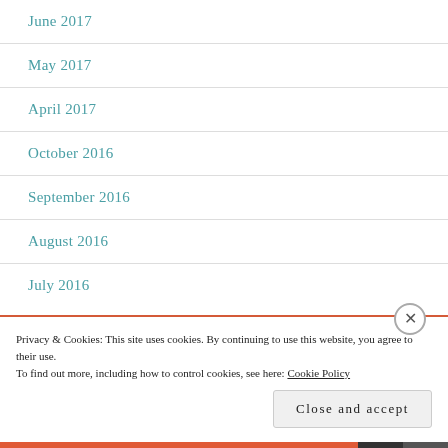June 2017
May 2017
April 2017
October 2016
September 2016
August 2016
July 2016
Privacy & Cookies: This site uses cookies. By continuing to use this website, you agree to their use.
To find out more, including how to control cookies, see here: Cookie Policy
Close and accept